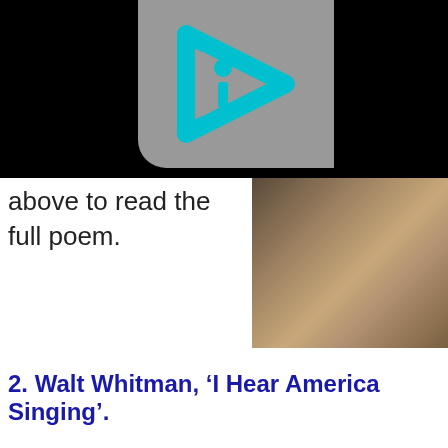[Figure (logo): Interactive media logo with cyan play/arrow triangle shape and 'i' letter on grey background, set against black background]
[Figure (photo): Close-up sepia/brown toned photo showing what appears to be a hand near metal or book pages]
above to read the full poem.
2. Walt Whitman, ‘I Hear America Singing’.